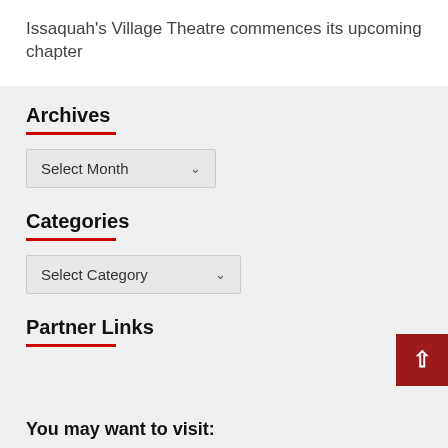Issaquah's Village Theatre commences its upcoming chapter
Archives
Select Month
Categories
Select Category
Partner Links
You may want to visit: